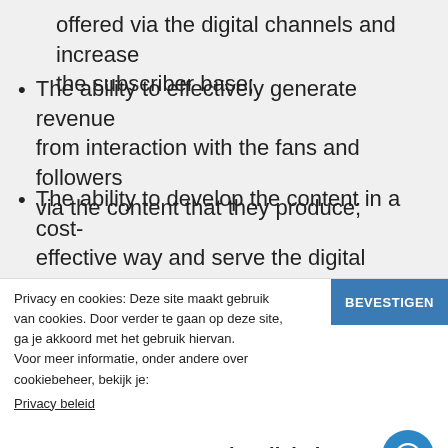offered via the digital channels and increase the subscriber base;
The ability to effectively generate revenue from interaction with the fans and followers via the content that they produce;
The ability to develop the content in a cost-effective way and serve the digital channels in
Privacy en cookies: Deze site maakt gebruik van cookies. Door verder te gaan op deze site, ga je akkoord met het gebruik hiervan. Voor meer informatie, onder andere over cookiebeheer, bekijk je: Privacy beleid
BEVESTIGEN
Hoe kan ik helpen?